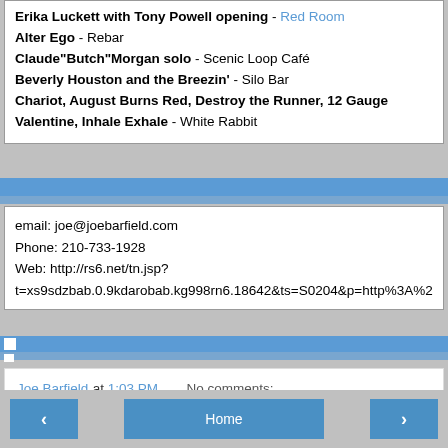Erika Luckett with Tony Powell opening - Red Room
Alter Ego - Rebar
Claude"Butch"Morgan solo - Scenic Loop Café
Beverly Houston and the Breezin' - Silo Bar
Chariot, August Burns Red, Destroy the Runner, 12 Gauge Valentine, Inhale Exhale - White Rabbit
email: joe@joebarfield.com
Phone: 210-733-1928
Web: http://rs6.net/tn.jsp?t=xs9sdzbab.0.9kdarobab.kg998rn6.18642&ts=S0204&p=http%3A%2
Joe Barfield at 1:03 PM   No comments:
‹   Home   ›